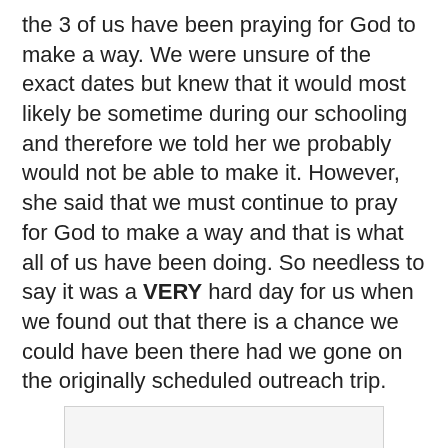the 3 of us have been praying for God to make a way. We were unsure of the exact dates but knew that it would most likely be sometime during our schooling and therefore we told her we probably would not be able to make it. However, she said that we must continue to pray for God to make a way and that is what all of us have been doing. So needless to say it was a VERY hard day for us when we found out that there is a chance we could have been there had we gone on the originally scheduled outreach trip.
[Figure (photo): Photo placeholder box with caption: Chiky and I during our team's February visit!]
Chiky and I during our team's February visit!
We have prayed since we first found out about her graduation for God's will in this and not our own so we are trusting that if He wants us there He will provide the miracle to make it happen and if not He has a plan and